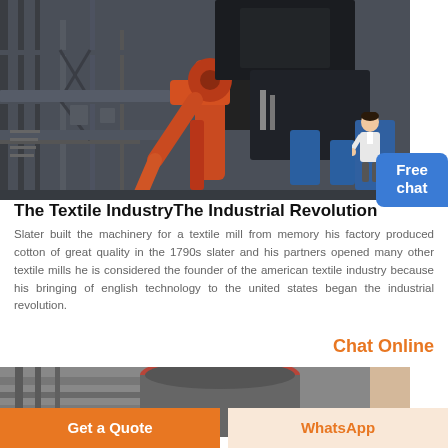[Figure (photo): Industrial textile machinery / factory equipment with large red mechanical arm on a steel structure framework, viewed from below at an industrial facility.]
The Textile IndustryThe Industrial Revolution
Slater built the machinery for a textile mill from memory his factory produced cotton of great quality in the 1790s slater and his partners opened many other textile mills he is considered the founder of the american textile industry because his bringing of english technology to the united states began the industrial revolution.
Chat Online
[Figure (photo): Close-up industrial machinery, cylindrical components with red and gray coloring, partial view of a large industrial machine.]
Get a Quote
WhatsApp